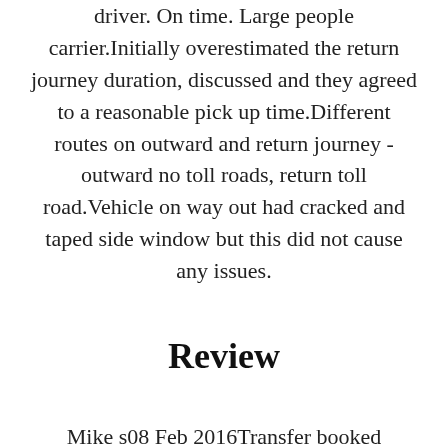driver. On time. Large people carrier.Initially overestimated the return journey duration, discussed and they agreed to a reasonable pick up time.Different routes on outward and return journey - outward no toll roads, return toll road.Vehicle on way out had cracked and taped side window but this did not cause any issues.
Review
Mike s08 Feb 2016Transfer booked through SarlGama. This customer